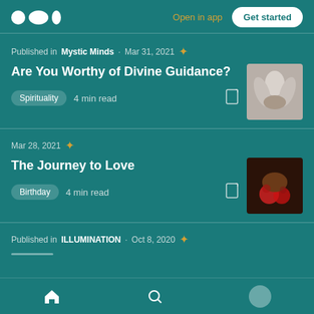Medium app header with logo, Open in app, Get started
Published in Mystic Minds · Mar 31, 2021 ★
Are You Worthy of Divine Guidance?
Spirituality   4 min read
Mar 28, 2021 ★
The Journey to Love
Birthday   4 min read
Published in ILLUMINATION · Oct 8, 2020 ★
Home | Search | Profile